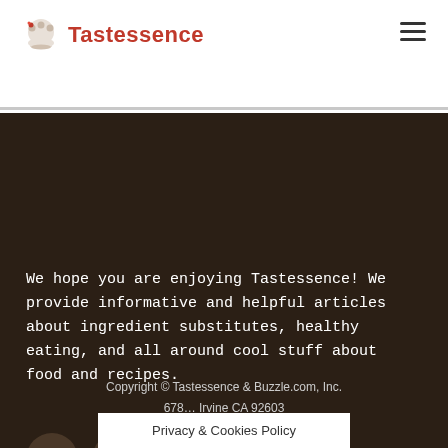Tastessence
We hope you are enjoying Tastessence! We provide informative and helpful articles about ingredient substitutes, healthy eating, and all around cool stuff about food and recipes.
[Figure (logo): Facebook icon circle button]
[Figure (logo): RSS feed icon circle button]
Copyright © Tastessence & Buzzle.com, Inc.
678... Irvine CA 92603
Privacy & Cookies Policy